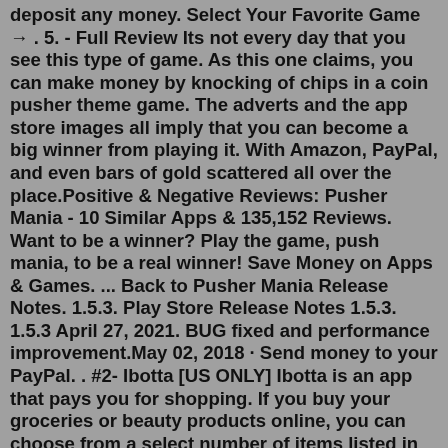deposit any money. Select Your Favorite Game → . 5. - Full Review Its not every day that you see this type of game. As this one claims, you can make money by knocking of chips in a coin pusher theme game. The adverts and the app store images all imply that you can become a big winner from playing it. With Amazon, PayPal, and even bars of gold scattered all over the place.Positive & Negative Reviews: Pusher Mania - 10 Similar Apps & 135,152 Reviews. Want to be a winner? Play the game, push mania, to be a real winner! Save Money on Apps & Games. ... Back to Pusher Mania Release Notes. 1.5.3. Play Store Release Notes 1.5.3. 1.5.3 April 27, 2021. BUG fixed and performance improvement.May 02, 2018 · Send money to your PayPal. . #2- Ibotta [US ONLY] Ibotta is an app that pays you for shopping. If you buy your groceries or beauty products online, you can choose from a select number of items listed in the app. Oct 23, 2021 · This forum is moderated by volunteer moderators who will react only to members' feedback on posts. Moderators are not employees or